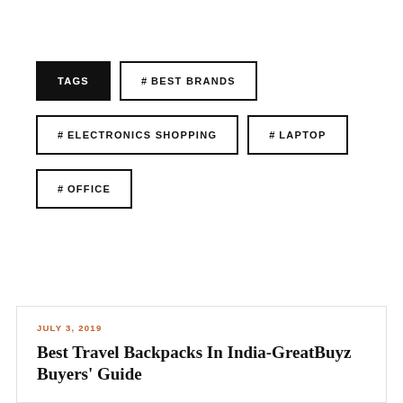TAGS
#BEST BRANDS
#ELECTRONICS SHOPPING
#LAPTOP
#OFFICE
JULY 3, 2019
Best Travel Backpacks In India-GreatBuyz Buyers' Guide